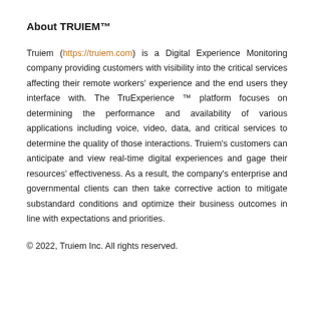About TRUIEM™
Truiem (https://truiem.com) is a Digital Experience Monitoring company providing customers with visibility into the critical services affecting their remote workers' experience and the end users they interface with. The TruExperience ™ platform focuses on determining the performance and availability of various applications including voice, video, data, and critical services to determine the quality of those interactions. Truiem's customers can anticipate and view real-time digital experiences and gage their resources' effectiveness. As a result, the company's enterprise and governmental clients can then take corrective action to mitigate substandard conditions and optimize their business outcomes in line with expectations and priorities.
© 2022, Truiem Inc. All rights reserved.